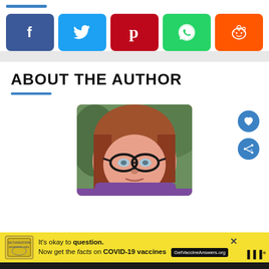[Figure (other): Social media share buttons row: Facebook (blue), Twitter (light blue), Pinterest (red), WhatsApp (green), Reddit (orange)]
ABOUT THE AUTHOR
[Figure (photo): Headshot photo of a young woman with reddish hair and black cat-eye glasses, wearing a purple top, with green foliage in background]
[Figure (infographic): Advertisement banner: yellow background with stamp graphic, text reading 'It's okay to question. Now get the facts on COVID-19 vaccines' with GetVaccineAnswers.org link button]